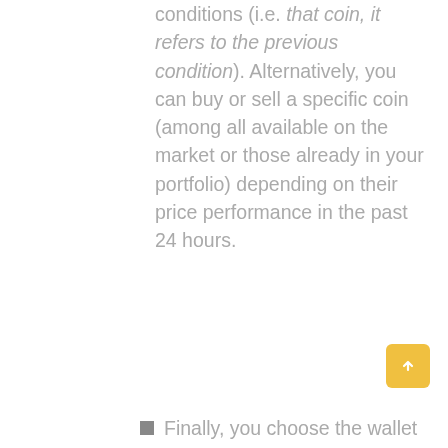conditions (i.e. that coin, it refers to the previous condition). Alternatively, you can buy or sell a specific coin (among all available on the market or those already in your portfolio) depending on their price performance in the past 24 hours.
Finally, you choose the wallet